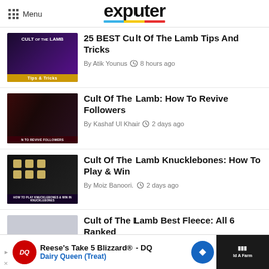exputer
25 BEST Cult Of The Lamb Tips And Tricks
By Atik Younus  8 hours ago
Cult Of The Lamb: How To Revive Followers
By Kashaf Ul Khair  2 days ago
Cult Of The Lamb Knucklebones: How To Play & Win
By Moiz Banoori.  2 days ago
Cult of The Lamb Best Fleece: All 6 Ranked
By Mina Anwar  2 days ago
Reese's Take 5 Blizzard® - DQ  Dairy Queen (Treat)